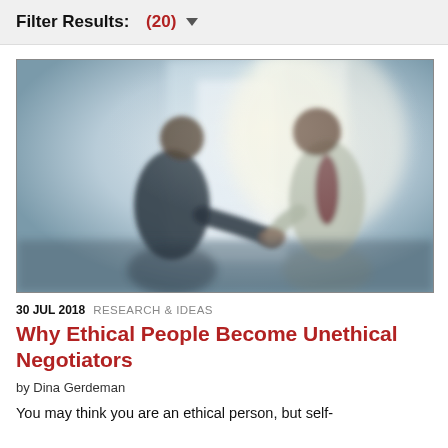Filter Results: (20) ▼
[Figure (photo): Two businesspeople shaking hands in a blurred office/atrium setting, silhouetted against bright windows. One person wears a dark suit, the other a light grey suit with a dark tie.]
30 JUL 2018  RESEARCH & IDEAS
Why Ethical People Become Unethical Negotiators
by Dina Gerdeman
You may think you are an ethical person, but self-